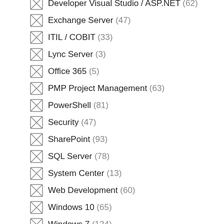Developer Visual Studio / ASP.NET (62)
Exchange Server (47)
ITIL / COBIT (33)
Lync Server (3)
Office 365 (5)
PMP Project Management (63)
PowerShell (81)
Security (47)
SharePoint (93)
SQL Server (78)
System Center (13)
Web Development (60)
Windows 10 (65)
Windows 7 (124)
Windows 8 (85)
Windows Server (74)
Windows Server 2012 (90)